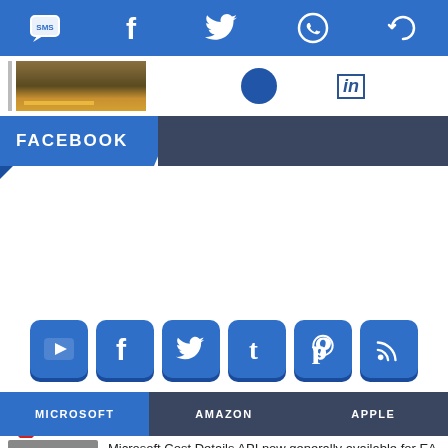[Figure (screenshot): Top navigation bar with social media icons: SMS, Facebook, Twitter, WhatsApp, and another icon on blue background]
[Figure (screenshot): Thumbnail strip showing a landscape image, a blue circle, and a LinkedIn 'in' icon]
FACEBOOK
[Figure (infographic): Row of blue 3D social media icon buttons: YouTube, Facebook, Twitter, Tumblr, Pinterest, RSS]
MICROSOFT    AMAZON    APPLE
Microsoft Cost Details API now generally available for EA and MCA customers #Azure